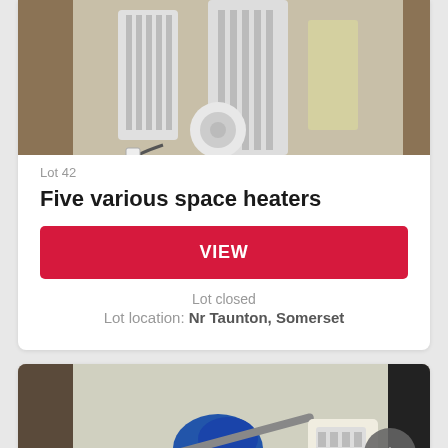[Figure (photo): Photo of five various space heaters on a floor]
Lot 42
Five various space heaters
VIEW
Lot closed
Lot location: Nr Taunton, Somerset
[Figure (photo): Photo of a carpet cleaner and space heater on the floor]